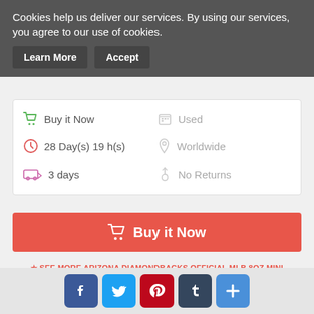Cookies help us deliver our services. By using our services, you agree to our use of cookies.
Learn More  Accept
Buy it Now
28 Day(s) 19 h(s)
3 days
Used
Worldwide
No Returns
Buy it Now
✯ SEE MORE ARIZONA DIAMONDBACKS OFFICIAL MLB 8OZ MINI BASEBALL HELMET ICE CREAM SNACK BOWLS (4) BY RAWLINGS ON EBAY
Baseball
Arizona Diamondbacks (458)
Social share buttons: Facebook, Twitter, Pinterest, Tumblr, More